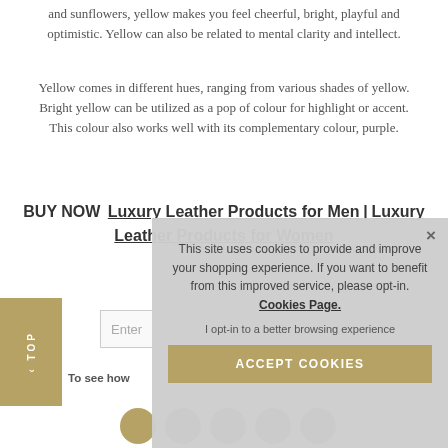and sunflowers, yellow makes you feel cheerful, bright, playful and optimistic. Yellow can also be related to mental clarity and intellect.
Yellow comes in different hues, ranging from various shades of yellow. Bright yellow can be utilized as a pop of colour for highlight or accent. This colour also works well with its complementary colour, purple.
BUY NOW  Luxury Leather Products for Men | Luxury Leather Products for Women
[Figure (screenshot): Cookie consent overlay popup with text: This site uses cookies to provide and improve your shopping experience. If you want to benefit from this improved service, please opt-in. Cookies Page. I opt-in to a better browsing experience. ACCEPT COOKIES button. Close X button in top right.]
Enter
To see how
[Figure (other): Social media icons row: Facebook (gold), Twitter, Instagram, Pinterest, YouTube]